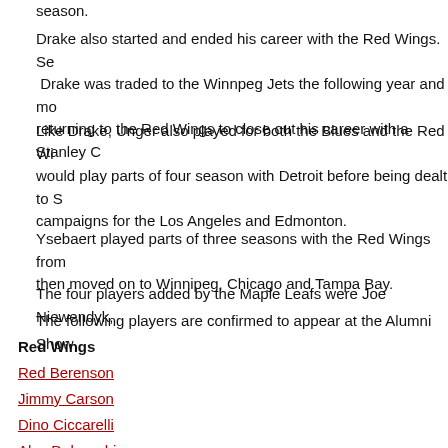season.
Drake also started and ended his career with the Red Wings.  Se Drake was traded to the Winnpeg Jets the following year and mo returning to the Red Wings to close out his career with a Stanley C
Like Drake, Unger also played for both the Blues and the Red Wi would play parts of four season with Detroit before being dealt to S campaigns for the Los Angeles and Edmonton.
Ysebaert played parts of three seasons with the Red Wings from then moved on to Winnipeg, Chicago and Tampa Bay.
The four players added by the Maple Leafs were Joe Niewendyk,
The following players are confirmed to appear at the Alumni Show
Red Wings
Red Berenson
Jimmy Carson
Dino Ciccarelli
Alex Delvecchio